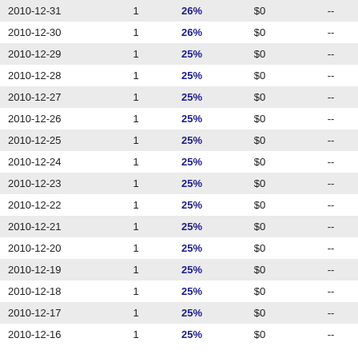| 2010-12-31 | 1 | 26% | $0 | -- |
| 2010-12-30 | 1 | 26% | $0 | -- |
| 2010-12-29 | 1 | 25% | $0 | -- |
| 2010-12-28 | 1 | 25% | $0 | -- |
| 2010-12-27 | 1 | 25% | $0 | -- |
| 2010-12-26 | 1 | 25% | $0 | -- |
| 2010-12-25 | 1 | 25% | $0 | -- |
| 2010-12-24 | 1 | 25% | $0 | -- |
| 2010-12-23 | 1 | 25% | $0 | -- |
| 2010-12-22 | 1 | 25% | $0 | -- |
| 2010-12-21 | 1 | 25% | $0 | -- |
| 2010-12-20 | 1 | 25% | $0 | -- |
| 2010-12-19 | 1 | 25% | $0 | -- |
| 2010-12-18 | 1 | 25% | $0 | -- |
| 2010-12-17 | 1 | 25% | $0 | -- |
| 2010-12-16 | 1 | 25% | $0 | -- |